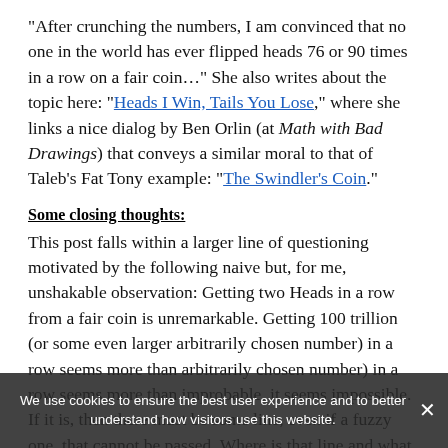“After crunching the numbers, I am convinced that no one in the world has ever flipped heads 76 or 90 times in a row on a fair coin…” She also writes about the topic here: “Heads I Win, Tails You Lose,” where she links a nice dialog by Ben Orlin (at Math with Bad Drawings) that conveys a similar moral to that of Taleb’s Fat Tony example: “The Swindler’s Coin.”
Some closing thoughts:
This post falls within a larger line of questioning motivated by the following naive but, for me, unshakable observation: Getting two Heads in a row from a fair coin is unremarkable. Getting 100 trillion (or some even larger arbitrarily chosen number) in a row seems more than improbable, it seems impossible. If it is, then there must be some line, even if a fuzzy one, that cannot be passed. Where is that line and what are its implications?11 It is
We use cookies to ensure the best user experience and to better understand how visitors use this website.